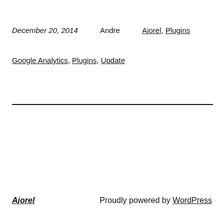December 20, 2014    Andre    Ajorel, Plugins
Google Analytics, Plugins, Update
Ajorel    Proudly powered by WordPress